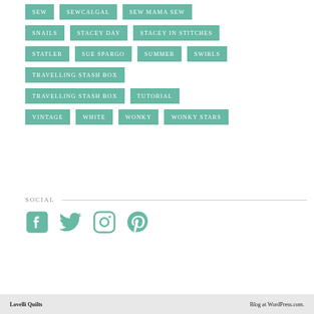SEW, SEWCALGAL, SEW MAMA SEW, SNAILS, STACEY DAY, STACEY IN STITCHES, STATLER, SUE SPARGO, SUMMER, SWIRLS, TRAVELLING STASH BOX, TRAVELLING STASH BOX, TUTORIAL, VINTAGE, WHITE, WONKY, WONKY STARS
SOCIAL
[Figure (infographic): Social media icons: Facebook, Twitter, Instagram, Pinterest in teal color]
Lovelli Quilts   Blog at WordPress.com.